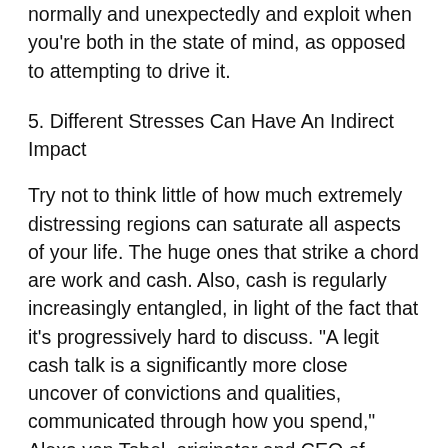normally and unexpectedly and exploit when you're both in the state of mind, as opposed to attempting to drive it.
5. Different Stresses Can Have An Indirect Impact
Try not to think little of how much extremely distressing regions can saturate all aspects of your life. The huge ones that strike a chord are work and cash. Also, cash is regularly increasingly entangled, in light of the fact that it's progressively hard to discuss. "A legit cash talk is a significantly more close uncover of convictions and qualities, communicated through how you spend," Alexa von Tobel, originator and CEO of LearnVest and creator of the New York Times Bestseller, Financially Fearless, tells Bustle. "The talk can and ought to inevitably prompt your greatest dreams, expectations, and fears, so youthful couples can feel defenseless when examining those points with one another — particularly if it's the first occasion